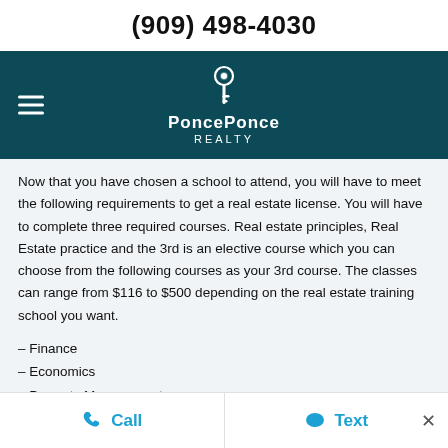(909) 498-4030
[Figure (logo): Ponce Ponce Realty logo with key icon on dark teal navigation bar with hamburger menu]
Now that you have chosen a school to attend, you will have to meet the following requirements to get a real estate license. You will have to complete three required courses. Real estate principles, Real Estate practice and the 3rd is an elective course which you can choose from the following courses as your 3rd course. The classes can range from $116 to $500 depending on the real estate training school you want.
– Finance
– Economics
– Property Management
Call   Text